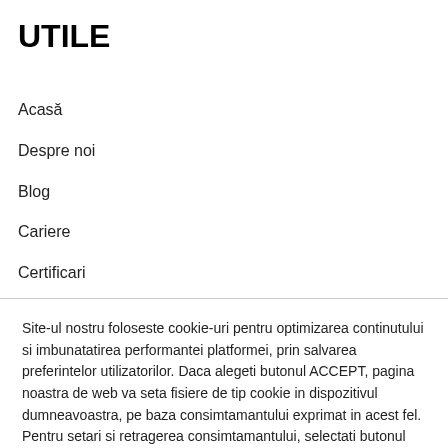UTILE
Acasă
Despre noi
Blog
Cariere
Certificari
Site-ul nostru foloseste cookie-uri pentru optimizarea continutului si imbunatatirea performantei platformei, prin salvarea preferintelor utilizatorilor. Daca alegeti butonul ACCEPT, pagina noastra de web va seta fisiere de tip cookie in dispozitivul dumneavoastra, pe baza consimtamantului exprimat in acest fel. Pentru setari si retragerea consimtamantului, selectati butonul SETARI.